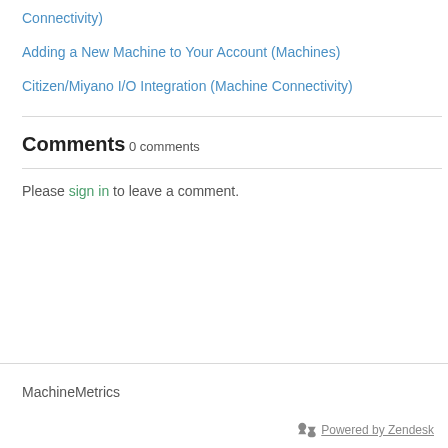Connectivity)
Adding a New Machine to Your Account (Machines)
Citizen/Miyano I/O Integration (Machine Connectivity)
Comments
0 comments
Please sign in to leave a comment.
MachineMetrics
Powered by Zendesk